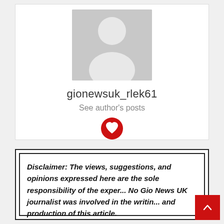[Figure (illustration): Generic user avatar placeholder — grey silhouette of a person on a grey background]
gionewsuk_rlek61
See author's posts
[Figure (logo): Red circular social media icon with a white heart/location pin symbol]
Disclaimer: The views, suggestions, and opinions expressed here are the sole responsibility of the experts. No Gio News UK journalist was involved in the writing and production of this article.